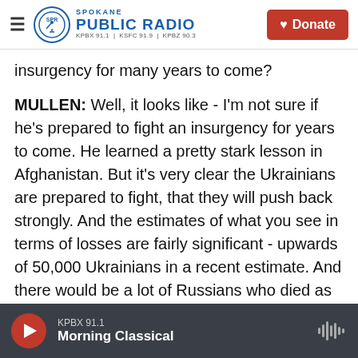Spokane Public Radio — KPBX 91.1 | KSFC 91.9 | KPBZ 90.3 | Donate
insurgency for many years to come?
MULLEN: Well, it looks like - I'm not sure if he's prepared to fight an insurgency for years to come. He learned a pretty stark lesson in Afghanistan. But it's very clear the Ukrainians are prepared to fight, that they will push back strongly. And the estimates of what you see in terms of losses are fairly significant - upwards of 50,000 Ukrainians in a recent estimate. And there would be a lot of Russians who died as well. Obviously, he will take that into consideration in making this decision.
KPBX 91.1 Morning Classical